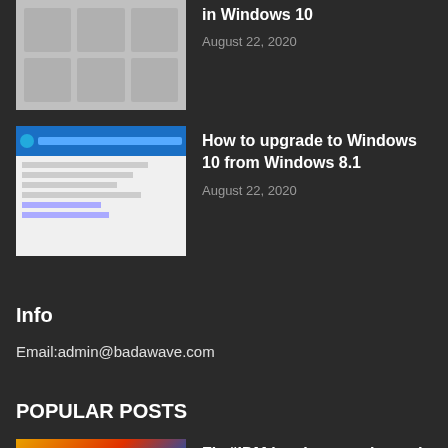[Figure (screenshot): Windows 10 settings/icons screenshot thumbnail]
in Windows 10
August 22, 2020
[Figure (screenshot): Windows upgrade dialog screenshot thumbnail]
How to upgrade to Windows 10 from Windows 8.1
August 22, 2020
Info
Email:admin@badawave.com
POPULAR POSTS
[Figure (screenshot): IDM error dialog on Windows 7 wallpaper background]
Fix “IDM has been registered with the fake serial number” error...
August 22, 2020